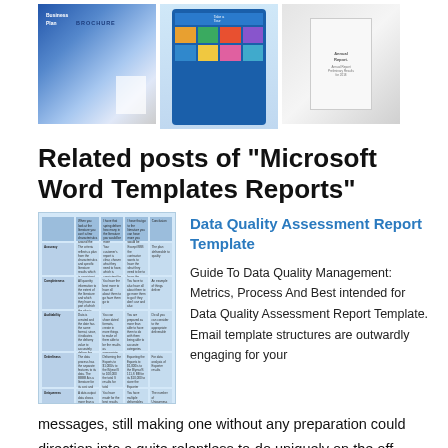[Figure (illustration): Three preview images: a business plan/brochure mockup, a tablet showing a colorful app interface, and a white box/annual report mockup]
Related posts of "Microsoft Word Templates Reports"
[Figure (table-as-image): Thumbnail image of a Data Quality Assessment Report table with blue header rows and multiple columns]
Data Quality Assessment Report Template
Guide To Data Quality Management: Metrics, Process And Best intended for Data Quality Assessment Report Template. Email template structures are outwardly engaging for your messages, still making one without any preparation could direction into a quite relentless to-do uniquely on the off unplanned that you
messages, still making one without any preparation could direction into a quite relentless to-do uniquely on the off unplanned that you